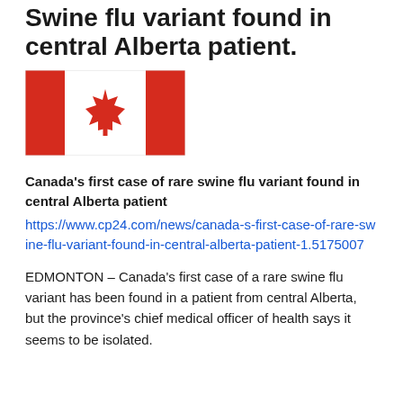Swine flu variant found in central Alberta patient.
[Figure (illustration): Canadian flag — red-white-red triband with red maple leaf in center white section]
Canada's first case of rare swine flu variant found in central Alberta patient
https://www.cp24.com/news/canada-s-first-case-of-rare-swine-flu-variant-found-in-central-alberta-patient-1.5175007
EDMONTON – Canada's first case of a rare swine flu variant has been found in a patient from central Alberta, but the province's chief medical officer of health says it seems to be isolated.